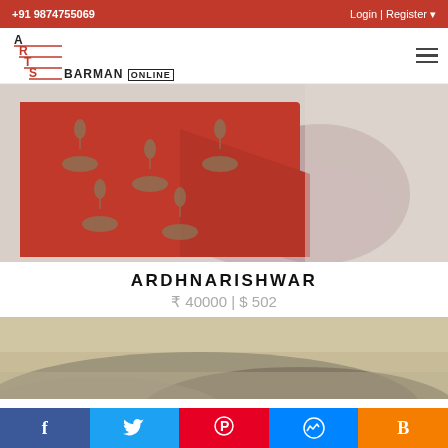+91 9874755069  Login | Register
[Figure (logo): Arts Barman Online logo with staircase design in red and black]
[Figure (photo): Close-up of an Indian painting showing a red fabric/saree with gold floral patterns against a purple/pink and white textured background - part of Ardhnarishwar artwork]
ARDHNARISHWAR
₹ 40000 | $ 502
[Figure (photo): Close-up of a painting showing beige/grey sand dunes or landscape with soft, muted tones]
f  Twitter  Pinterest  Messenger  Blogger